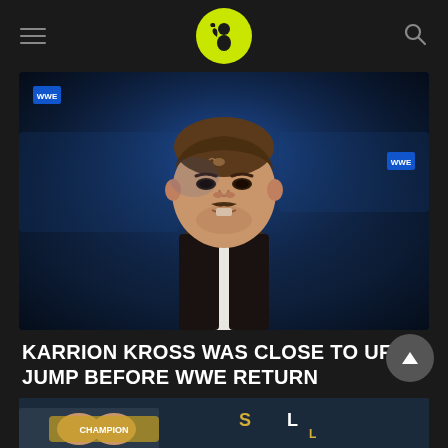Wrestling/sports news website header with hamburger menu, logo, and search icon
[Figure (photo): Close-up photo of Karrion Kross, a professional wrestler, with an intense facial expression, in a WWE arena with blue lighting in the background]
KARRION KROSS WAS CLOSE TO UFC JUMP BEFORE WWE RETURN
[Figure (photo): Partial thumbnail image of another article showing a person with championship belts]